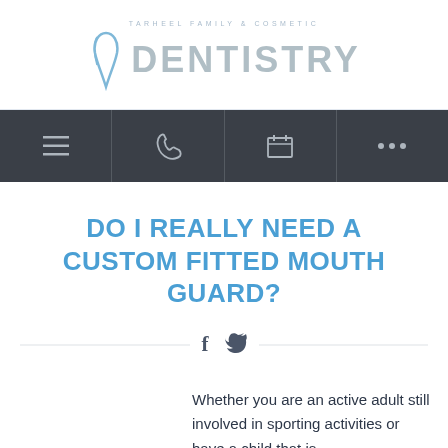TARHEEL FAMILY & COSMETIC DENTISTRY
[Figure (logo): Tarheel Family & Cosmetic Dentistry logo with stylized tooth/wave icon and large bold DENTISTRY text in gray]
[Figure (screenshot): Dark navigation bar with hamburger menu, phone icon, calendar icon, and ellipsis (more) icon]
DO I REALLY NEED A CUSTOM FITTED MOUTH GUARD?
[Figure (infographic): Social sharing icons: Facebook (f) and Twitter (bird) with horizontal dividing lines on each side]
Whether you are an active adult still involved in sporting activities or have a child that is